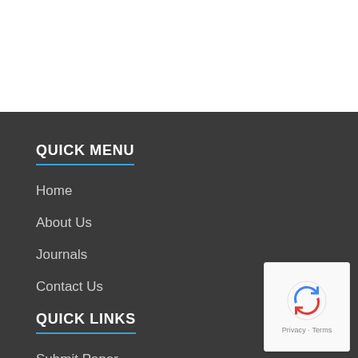QUICK MENU
Home
About Us
Journals
Contact Us
QUICK LINKS
Submit Paper
[Figure (logo): reCAPTCHA badge with blue arrow icon and Privacy & Terms text]